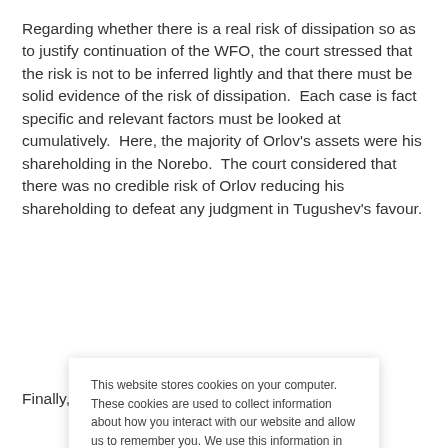Regarding whether there is a real risk of dissipation so as to justify continuation of the WFO, the court stressed that the risk is not to be inferred lightly and that there must be solid evidence of the risk of dissipation.  Each case is fact specific and relevant factors must be looked at cumulatively.  Here, the majority of Orlov's assets were his shareholding in the Norebo.  The court considered that there was no credible risk of Orlov reducing his shareholding to defeat any judgment in Tugushev's favour.
Finally, the court considered that Tugushev could be granted...
This website stores cookies on your computer. These cookies are used to collect information about how you interact with our website and allow us to remember you. We use this information in order to improve and customize your browsing experience and for analytics and metrics about our visitors both on this website and when they interact with other media from us (including email, social media and landing pages). To find out more about the cookies we use, see our Privacy Policy.